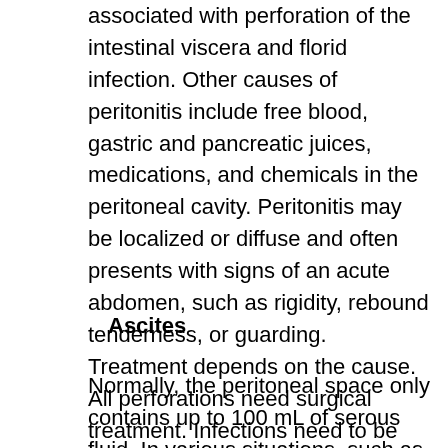associated with perforation of the intestinal viscera and florid infection. Other causes of peritonitis include free blood, gastric and pancreatic juices, medications, and chemicals in the peritoneal cavity. Peritonitis may be localized or diffuse and often presents with signs of an acute abdomen, such as rigidity, rebound tenderness, or guarding. Treatment depends on the cause. All perforations need surgical treatment. Infections need to be treated with antibiotics. Mortality is highest in elderly patients.
Ascites
Normally, the peritoneal space only contains up to 100 mL of serous fluid. In various situations, such as cirrhosis or chyle leaks, there can be a pathologic increase in peritoneal fluid volume. Cirrhotic ascites is believed to be due to portal hypertension, leading to increased permeability in blood vessels, allowing